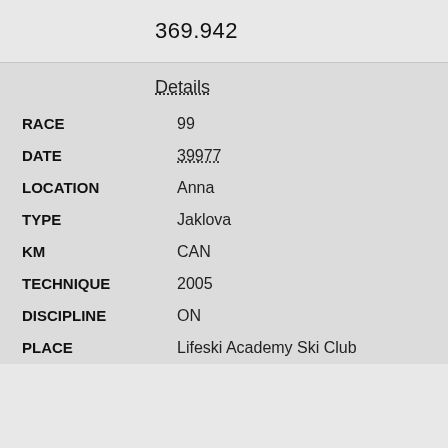369.942
Details
RACE 99
DATE 39977
LOCATION Anna
TYPE Jaklova
KM CAN
TECHNIQUE 2005
DISCIPLINE ON
PLACE Lifeski Academy Ski Club